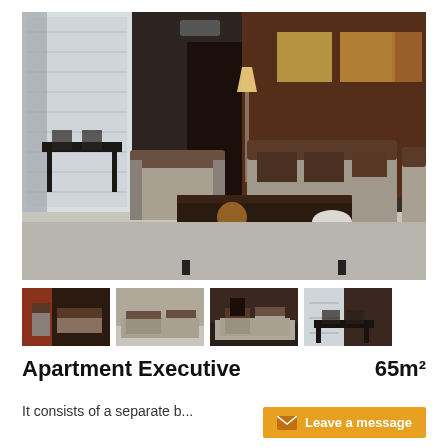[Figure (photo): Large interior photo of a luxury apartment living room with dark wood walls, gray sofas with brown cushions, a dark coffee table, floor lamp, artwork on walls, and a dining area visible by large windows.]
[Figure (photo): Thumbnail 1: Interior view of the apartment with warm lighting and furniture.]
[Figure (photo): Thumbnail 2: Another angle of the apartment living area.]
[Figure (photo): Thumbnail 3: Close-up view of the apartment seating area.]
[Figure (photo): Thumbnail 4: View of the dining area near the windows.]
Apartment Executive    65m²
It consists of a separate b...